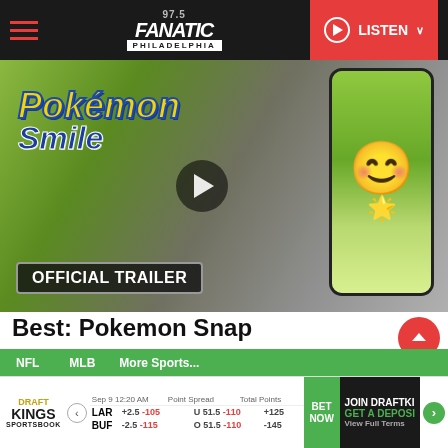97.5 Fanatic Philadelphia — LISTEN
[Figure (screenshot): Pokemon Smile official trailer video thumbnail showing Pokemon Smile logo and child wearing Pikachu hat costume on phone screen, with play button overlay and 'OFFICIAL TRAILER' label]
Best: Pokemon Snap
Ok, so I'm cheating a little bit here. The original Pokemon Snap came out over 20 years ago.
NFL  MLB  More Sports...  |  DraftKings Sportsbook — Sep 9 12:20 AM  Point Spread  Total Points  Moneyline — LAR +2.5 -105  U 51.5 -110  +125 — BUF -2.5 -115  O 51.5 -110  -145  BET NOW  JOIN DRAFTKINGS GET A DEPOSIT View Full Terms